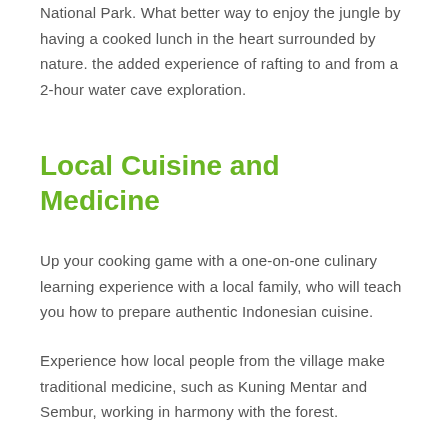National Park. What better way to enjoy the jungle by having a cooked lunch in the heart surrounded by nature. the added experience of rafting to and from a 2-hour water cave exploration.
Local Cuisine and Medicine
Up your cooking game with a one-on-one culinary learning experience with a local family, who will teach you how to prepare authentic Indonesian cuisine.
Experience how local people from the village make traditional medicine, such as Kuning Mentar and Sembur, working in harmony with the forest.